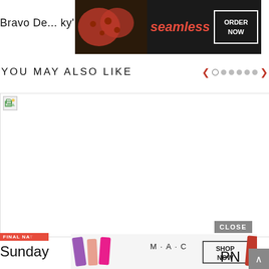Bravo De... ky'
[Figure (screenshot): Seamless food delivery advertisement banner with pizza image, Seamless logo, and ORDER NOW button]
YOU MAY ALSO LIKE
[Figure (photo): Broken/loading image placeholder in a large white area]
[Figure (screenshot): CLOSE button overlay above MAC cosmetics advertisement banner with lipstick products and SHOP NOW button]
FINAL NA...
Sunday ... PN